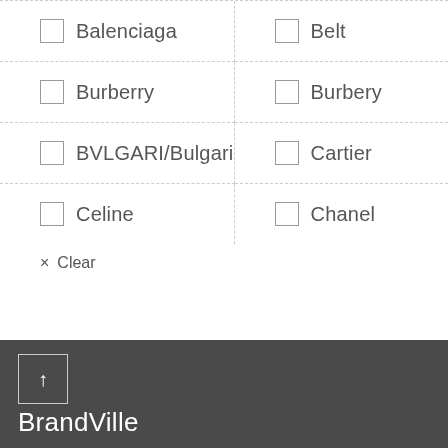Balenciaga
Belt
Burberry
Burbery
BVLGARI/Bulgari
Cartier
Celine
Chanel
× Clear
BrandVille